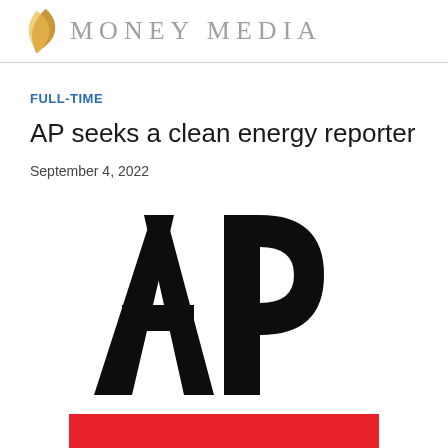MONEY MEDIA
FULL-TIME
AP seeks a clean energy reporter
September 4, 2022
[Figure (logo): Associated Press (AP) logo in large bold black letters]
[Figure (other): Red banner bar at bottom of page]